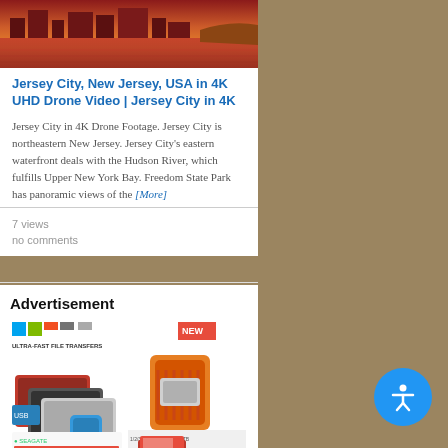[Figure (photo): Aerial/waterfront photo of Jersey City with warm sunset tones, reds and oranges]
Jersey City, New Jersey, USA in 4K UHD Drone Video | Jersey City in 4K
Jersey City in 4K Drone Footage. Jersey City is northeastern New Jersey. Jersey City's eastern waterfront deals with the Hudson River, which fulfills Upper New York Bay. Freedom State Park has panoramic views of the [More]
7 views
no comments
Advertisement
[Figure (photo): Advertisement image showing various external hard drives including LaCie Rugged, Seagate IronWolf NAS drives, and other storage products]